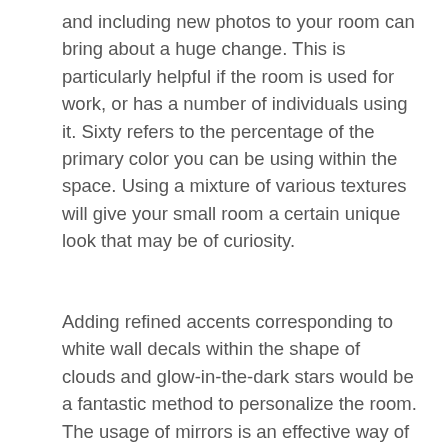and including new photos to your room can bring about a huge change. This is particularly helpful if the room is used for work, or has a number of individuals using it. Sixty refers to the percentage of the primary color you can be using within the space. Using a mixture of various textures will give your small room a certain unique look that may be of curiosity.
Adding refined accents corresponding to white wall decals within the shape of clouds and glow-in-the-dark stars would be a fantastic method to personalize the room. The usage of mirrors is an effective way of creating an illusion of house. The use of screens can assist in the division of a multipurpose